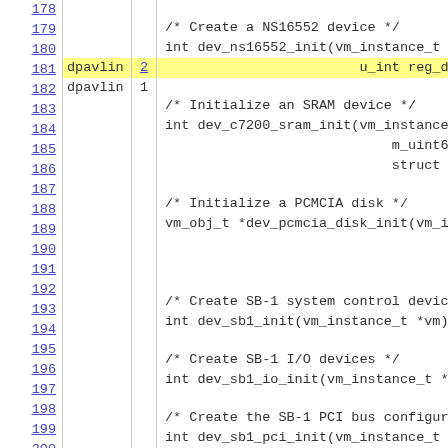| Line | Blame | Count | Code |
| --- | --- | --- | --- |
| 178 |  |  |  |
| 179 |  |  | /* Create a NS16552 device */ |
| 180 |  |  | int dev_ns16552_init(vm_instance_t *vm,m_ |
| 181 | dpavlin | 2 | u_int reg_div,u_int |
| 182 | dpavlin | 1 |  |
| 183 |  |  | /* Initialize an SRAM device */ |
| 184 |  |  | int dev_c7200_sram_init(vm_instance_t *vm |
| 185 |  |  | m_uint64_t paddr, |
| 186 |  |  | struct pci_bus *p |
| 187 |  |  |  |
| 188 |  |  | /* Initialize a PCMCIA disk */ |
| 189 |  |  | vm_obj_t *dev_pcmcia_disk_init(vm_instanc |
| 190 |  |  | m_uint64_t |
| 191 |  |  | u_int disk |
| 192 |  |  |  |
| 193 |  |  | /* Create SB-1 system control devices */ |
| 194 |  |  | int dev_sb1_init(vm_instance_t *vm); |
| 195 |  |  |  |
| 196 |  |  | /* Create SB-1 I/O devices */ |
| 197 |  |  | int dev_sb1_io_init(vm_instance_t *vm,u_i |
| 198 |  |  |  |
| 199 |  |  | /* Create the SB-1 PCI bus configuration |
| 200 |  |  | int dev_sb1_pci_init(vm_instance_t *vm,c |